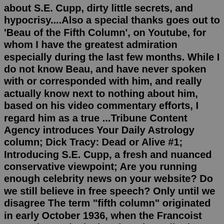about S.E. Cupp, dirty little secrets, and hypocrisy....Also a special thanks goes out to 'Beau of the Fifth Column', on Youtube, for whom I have the greatest admiration especially during the last few months. While I do not know Beau, and have never spoken with or corresponded with him, and really actually know next to nothing about him, based on his video commentary efforts, I regard him as a true ...Tribune Content Agency introduces Your Daily Astrology column; Dick Tracy: Dead or Alive #1; Introducing S.E. Cupp, a fresh and nuanced conservative viewpoint; Are you running enough celebrity news on your website? Do we still believe in free speech? Only until we disagree The term "fifth column" originated in early October 1936, when the Francoist general E. Mola declared on the radio that the rebels were conducting an offensive on Madrid using four columns, while the fifth would strike from the rear at the decisive moment. The fifth column spread panic and engaged in sabotage, espionage, and diversionary.Shortest List Ever — Republican